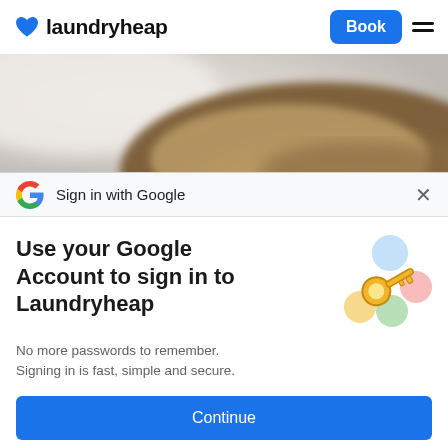[Figure (logo): Laundryheap logo with blue heart icon and wordmark, plus Book button and hamburger menu on the right]
[Figure (photo): Blurred close-up photo of a pile of sand or laundry powder on a light background]
Sign in with Google
Use your Google Account to sign in to Laundryheap
[Figure (illustration): Google key illustration with colorful circles and a golden key]
No more passwords to remember. Signing in is fast, simple and secure.
Continue